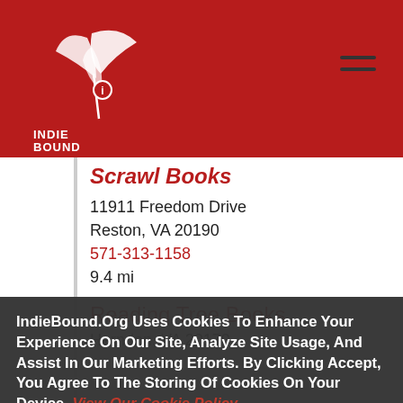[Figure (logo): IndieBound logo — white feather/book graphic with INDIE BOUND text below, on dark red background]
Scrawl Books
11911 Freedom Drive
Reston, VA 20190
571-313-1158
9.4 mi
Reading Tree Books
Herndon, VA 20170
IndieBound.Org Uses Cookies To Enhance Your Experience On Our Site, Analyze Site Usage, And Assist In Our Marketing Efforts. By Clicking Accept, You Agree To The Storing Of Cookies On Your Device. View Our Cookie Policy.
Give me more info
Accept all Cookies